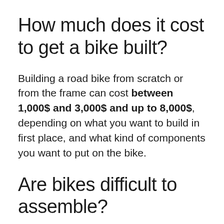How much does it cost to get a bike built?
Building a road bike from scratch or from the frame can cost between 1,000$ and 3,000$ and up to 8,000$, depending on what you want to build in first place, and what kind of components you want to put on the bike.
Are bikes difficult to assemble?
It's not that difficult, we promise. You'll need to assemble the front wheel, pedals, handlebar and seat yourself, you'll also have to...